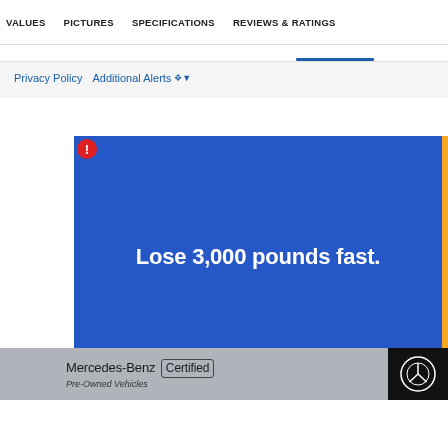VALUES   PICTURES   SPECIFICATIONS   REVIEWS & RATINGS
Privacy Policy   Additional Alerts
[Figure (illustration): Blue advertisement banner with white bold text reading 'Lose 3,000 pounds fast.' and a small red icon in the top-left corner.]
Mercedes-Benz Certified Pre-Owned Vehicles